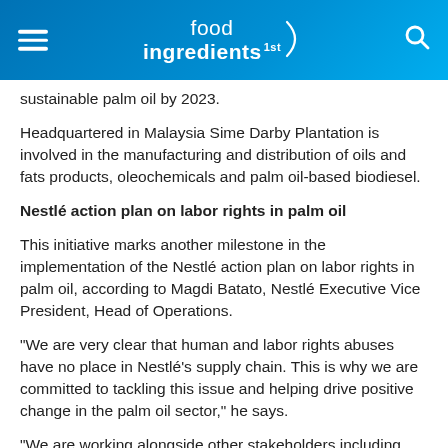food ingredients 1st
sustainable palm oil by 2023.
Headquartered in Malaysia Sime Darby Plantation is involved in the manufacturing and distribution of oils and fats products, oleochemicals and palm oil-based biodiesel.
Nestlé action plan on labor rights in palm oil
This initiative marks another milestone in the implementation of the Nestlé action plan on labor rights in palm oil, according to Magdi Batato, Nestlé Executive Vice President, Head of Operations.
“We are very clear that human and labor rights abuses have no place in Nestlé’s supply chain. This is why we are committed to tackling this issue and helping drive positive change in the palm oil sector,” he says.
“We are working alongside other stakeholders including suppliers and we believe these ongoing efforts will help improve the lives of those affected by unacceptable practices,” he added.